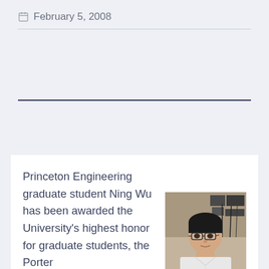February 5, 2008
Princeton Engineering graduate student Ning Wu has been awarded the University's highest honor for graduate students, the Porter
[Figure (photo): Portrait photo of Ning Wu, a man wearing glasses and a white collared shirt, with laboratory equipment visible in the background]